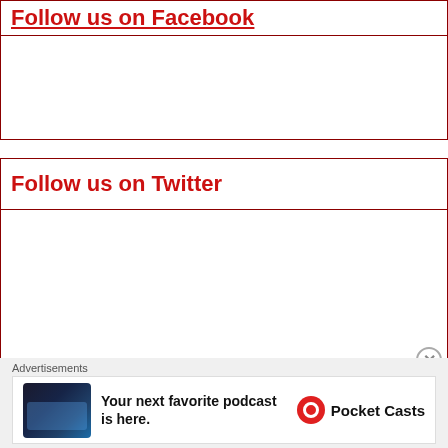Follow us on Facebook
Follow us on Twitter
Advertisements
[Figure (infographic): Advertisement banner for Pocket Casts app showing 'Your next favorite podcast is here.' with Pocket Casts logo]